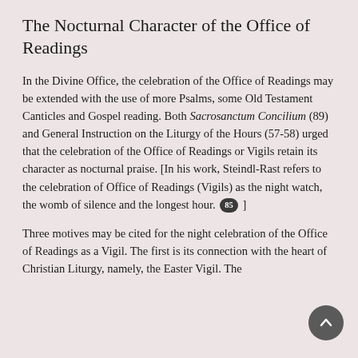The Nocturnal Character of the Office of Readings
In the Divine Office, the celebration of the Office of Readings may be extended with the use of more Psalms, some Old Testament Canticles and Gospel reading. Both Sacrosanctum Concilium (89) and General Instruction on the Liturgy of the Hours (57-58) urged that the celebration of the Office of Readings or Vigils retain its character as nocturnal praise. [In his work, Steindl-Rast refers to the celebration of Office of Readings (Vigils) as the night watch, the womb of silence and the longest hour. 85 ]
Three motives may be cited for the night celebration of the Office of Readings as a Vigil. The first is its connection with the heart of Christian Liturgy, namely, the Easter Vigil. The